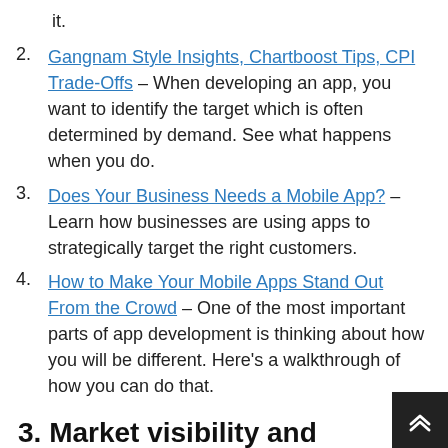it.
Gangnam Style Insights, Chartboost Tips, CPI Trade-Offs – When developing an app, you want to identify the target which is often determined by demand. See what happens when you do.
Does Your Business Needs a Mobile App? – Learn how businesses are using apps to strategically target the right customers.
How to Make Your Mobile Apps Stand Out From the Crowd – One of the most important parts of app development is thinking about how you will be different. Here's a walkthrough of how you can do that.
3. Market visibility and competition
[Figure (other): App Marketing image placeholder]